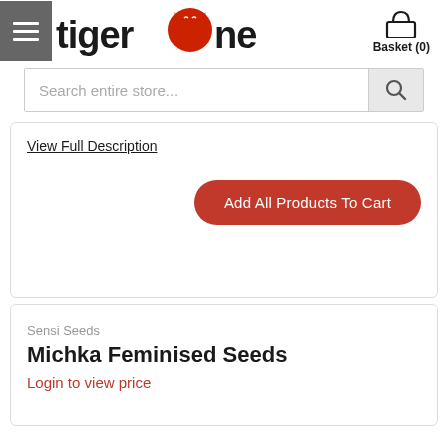tigerone — Basket (0)
Search entire store...
View Full Description
Add All Products ToCart
Sensi Seeds
Michka Feminised Seeds
Login to view price